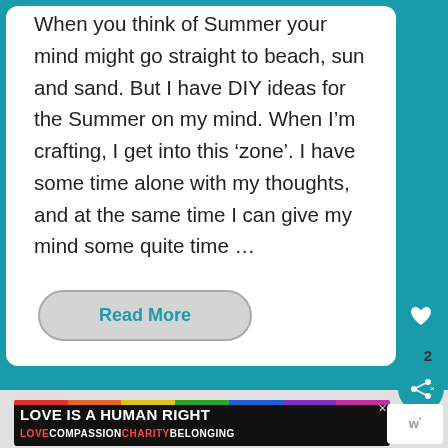When you think of Summer your mind might go straight to beach, sun and sand. But I have DIY ideas for the Summer on my mind. When I'm crafting, I get into this 'zone'. I have some time alone with my thoughts, and at the same time I can give my mind some quite time …
Read More
[Figure (screenshot): Love is a Human Right advertisement banner with rainbow colors and text: LOVE COMPASSION CHARITY BELONGING]